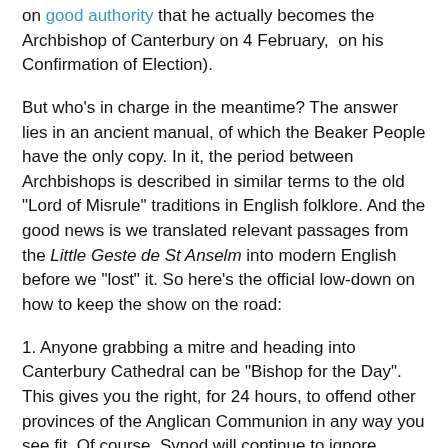on good authority that he actually becomes the Archbishop of Canterbury on 4 February,  on his Confirmation of Election).
But who's in charge in the meantime? The answer lies in an ancient manual, of which the Beaker People have the only copy. In it, the period between Archbishops is described in similar terms to the old "Lord of Misrule" traditions in English folklore. And the good news is we translated relevant passages from the Little Geste de St Anselm into modern English before we "lost" it. So here's the official low-down on how to keep the show on the road:
1. Anyone grabbing a mitre and heading into Canterbury Cathedral can be "Bishop for the Day". This gives you the right, for 24 hours, to offend other provinces of the Anglican Communion in any way you see fit. Of course, Synod will continue to ignore anything you say, regardless.
2. Just like a normal interregnum at parish level, this is the church's chance to completely reorganise everything. You've got 3 months to start using Latin (or, according to choice,